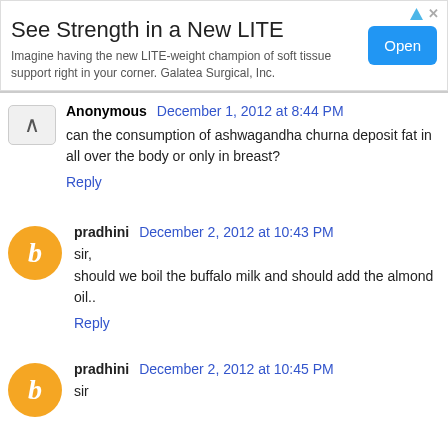[Figure (other): Advertisement banner: 'See Strength in a New LITE' with Open button, Galatea Surgical, Inc.]
Anonymous December 1, 2012 at 8:44 PM
can the consumption of ashwagandha churna deposit fat in all over the body or only in breast?
Reply
pradhini December 2, 2012 at 10:43 PM
sir,
should we boil the buffalo milk and should add the almond oil..
Reply
pradhini December 2, 2012 at 10:45 PM
sir